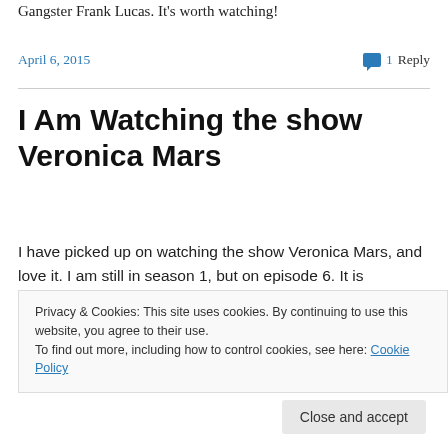Gangster Frank Lucas. It's worth watching!
April 6, 2015    💬 1 Reply
I Am Watching the show Veronica Mars
I have picked up on watching the show Veronica Mars, and love it. I am still in season 1, but on episode 6. It is interesting. For anyone who is interesting in watching this
Privacy & Cookies: This site uses cookies. By continuing to use this website, you agree to their use.
To find out more, including how to control cookies, see here: Cookie Policy